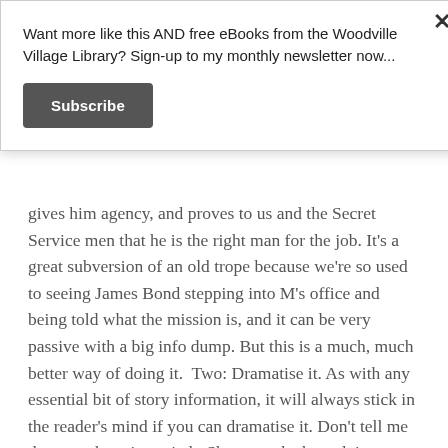Want more like this AND free eBooks from the Woodville Village Library? Sign-up to my monthly newsletter now...
Subscribe
gives him agency, and proves to us and the Secret Service men that he is the right man for the job. It’s a great subversion of an old trope because we’re so used to seeing James Bond stepping into M’s office and being told what the mission is, and it can be very passive with a big info dump. But this is a much, much better way of doing it.  Two: Dramatise it. As with any essential bit of story information, it will always stick in the reader’s mind if you can dramatise it. Don’t tell me that your hero is a witch. Show me the hero doing some magic and include a few telling details. Is she skilled or does she need more experience and practice? Does she work alone